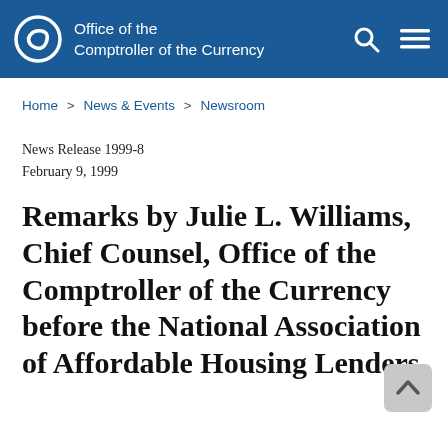Office of the Comptroller of the Currency
Home > News & Events > Newsroom
News Release 1999-8
February 9, 1999
Remarks by Julie L. Williams, Chief Counsel, Office of the Comptroller of the Currency before the National Association of Affordable Housing Lenders